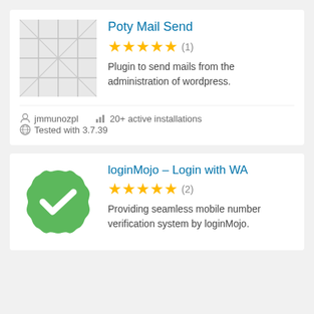[Figure (screenshot): Plugin listing card for 'Poty Mail Send' with a grid/placeholder thumbnail image, 5-star rating (1 review), description, author jmmunozpl, 20+ active installations, tested with 3.7.39]
Poty Mail Send
★★★★★ (1)
Plugin to send mails from the administration of wordpress.
jmmunozpl
20+ active installations
Tested with 3.7.39
[Figure (illustration): Green scalloped badge with white checkmark — loginMojo plugin icon]
loginMojo – Login with WA
★★★★★ (2)
Providing seamless mobile number verification system by loginMojo.